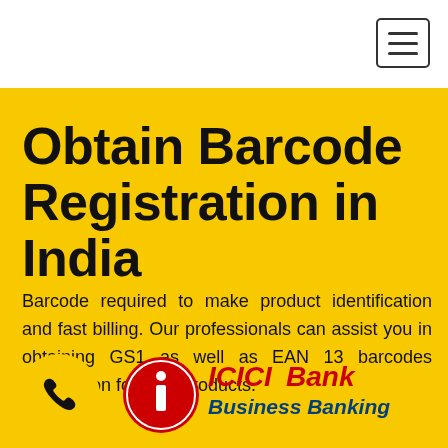Obtain Barcode Registration in India
Barcode required to make product identification and fast billing. Our professionals can assist you in obtaining GS1 as well as EAN 13 barcodes registration for your products.
[Figure (logo): Phone icon in yellow circle]
[Figure (logo): ICICI Bank Business Banking logo]